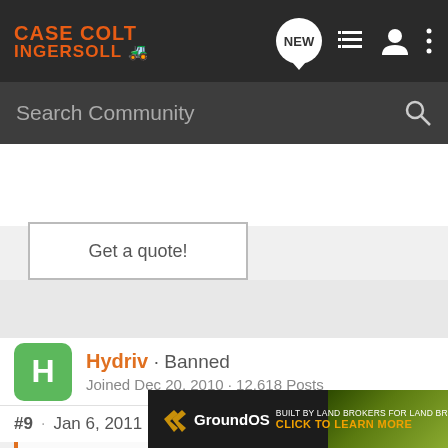Case Colt Ingersoll — Navigation bar with logo, NEW button, list icon, user icon, more icon
Search Community
Get a quote!
Hydriv · Banned
Joined Dec 20, 2010 · 12,618 Posts
#9 · Jan 6, 2011
JSB Case said:
(I still h... g on the wa...
[Figure (screenshot): GroundOS advertisement banner: dark background with gold chevron logo, 'GroundOS' text, 'BUILT BY LAND BROKERS FOR LAND BROKERS', 'CLICK TO LEARN MORE' in orange, landscape background photo]